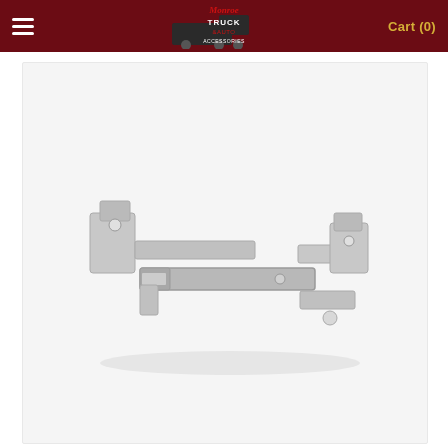Monroe Truck & Auto Accessories — Cart (0)
[Figure (photo): Product photo of a trailer hitch receiver bracket assembly, showing metal mounting brackets and a receiver tube, displayed against a light gray background.]